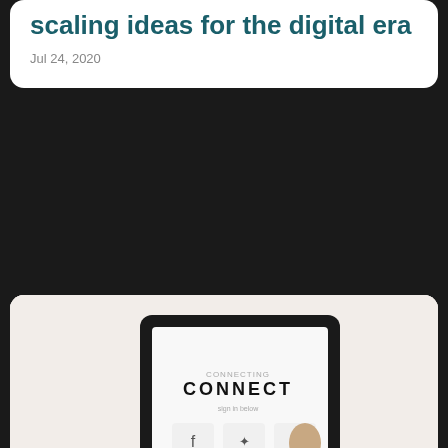scaling ideas for the digital era
Jul 24, 2020
[Figure (photo): Person holding a tablet displaying a CONNECT screen with social media icons (Facebook, Twitter, Pinterest, Google+) being touched by a finger; person wearing a watch]
Fundamentals of Social Media Engagement